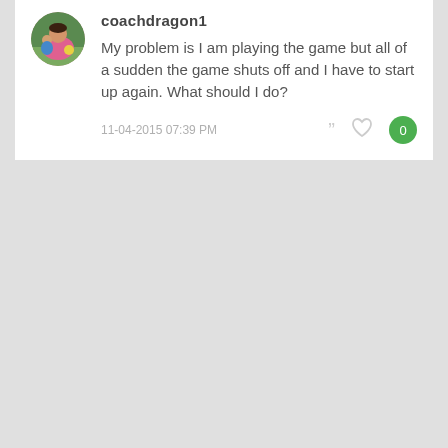[Figure (photo): Round avatar photo of a person in a pink jacket holding a child outdoors]
coachdragon1
My problem is I am playing the game but all of a sudden the game shuts off and I have to start up again. What should I do?
11-04-2015 07:39 PM